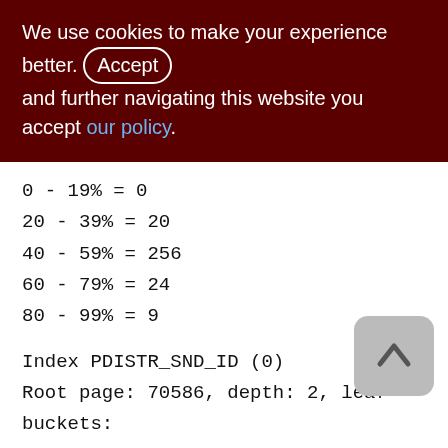We use cookies to make your experience better. By accepting and further navigating this website you accept our policy.
0 - 19% = 0
20 - 39% = 20
40 - 59% = 256
60 - 79% = 24
80 - 99% = 9
Index PDISTR_SND_ID (0)
Root page: 70586, depth: 2, leaf buckets: 196, nodes: 215613
Average node length: 5.35, total dup: 194077, max dup: 21
Average key length: 2.73, compression